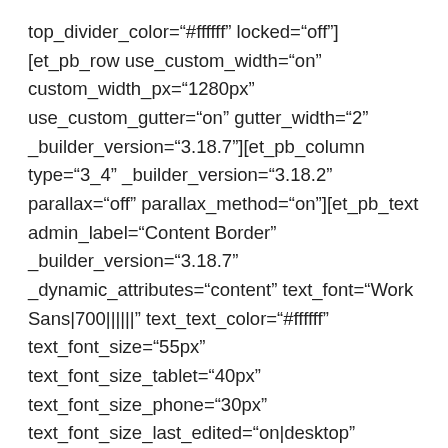top_divider_color="#ffffff" locked="off"][et_pb_row use_custom_width="on" custom_width_px="1280px" use_custom_gutter="on" gutter_width="2" _builder_version="3.18.7"][et_pb_column type="3_4" _builder_version="3.18.2" parallax="off" parallax_method="on"][et_pb_text admin_label="Content Border" _builder_version="3.18.7" _dynamic_attributes="content" text_font="Work Sans|700||||||" text_text_color="#ffffff" text_font_size="55px" text_font_size_tablet="40px" text_font_size_phone="30px" text_font_size_last_edited="on|desktop" text_line_height="1.3em" ul_font="||||||||" ol_font="||||||||" header_font="Work Sans|700||||||" header_text_color="#ffffff" header_font_size="55px" header_font_size_tablet="40px" header_font_size_phone="30px"